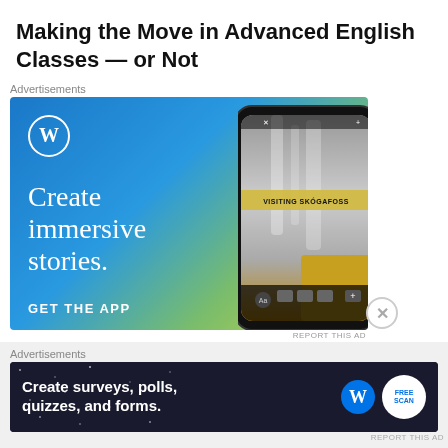Making the Move in Advanced English Classes — or Not
Advertisements
[Figure (screenshot): WordPress advertisement showing 'Create immersive stories. GET THE APP' with a phone mockup displaying a waterfall scene labeled 'VISITING SKÓGAFOSS' on a blue-to-yellow gradient background with the WordPress logo.]
REPORT THIS AD
Advertisements
[Figure (screenshot): WordPress/Jetpack advertisement on dark background with stars showing 'Create surveys, polls, quizzes, and forms.' with WordPress and Jetpack logos.]
REPORT THIS AD